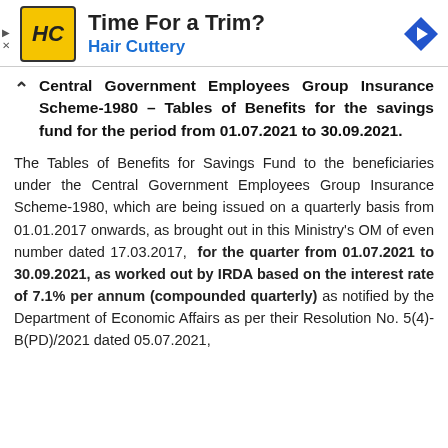[Figure (other): Advertisement banner for Hair Cuttery with logo, text 'Time For a Trim? Hair Cuttery', and a blue directional arrow icon.]
Central Government Employees Group Insurance Scheme-1980 – Tables of Benefits for the savings fund for the period from 01.07.2021 to 30.09.2021.
The Tables of Benefits for Savings Fund to the beneficiaries under the Central Government Employees Group Insurance Scheme-1980, which are being issued on a quarterly basis from 01.01.2017 onwards, as brought out in this Ministry's OM of even number dated 17.03.2017, for the quarter from 01.07.2021 to 30.09.2021, as worked out by IRDA based on the interest rate of 7.1% per annum (compounded quarterly) as notified by the Department of Economic Affairs as per their Resolution No. 5(4)-B(PD)/2021 dated 05.07.2021,